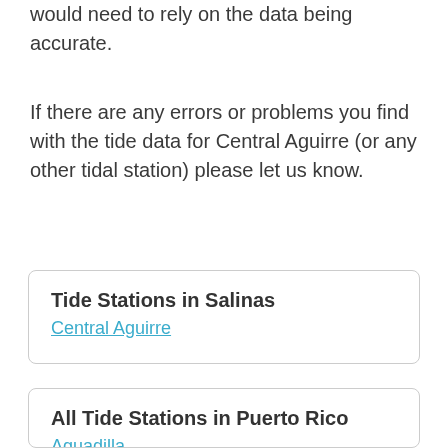would need to rely on the data being accurate.
If there are any errors or problems you find with the tide data for Central Aguirre (or any other tidal station) please let us know.
Tide Stations in Salinas
Central Aguirre
All Tide Stations in Puerto Rico
Aguadilla
Añasco
Arroyo